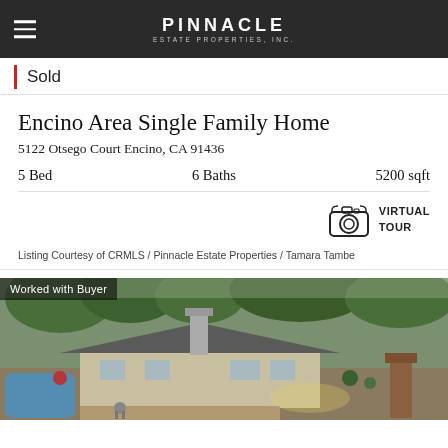PINNACLE ESTATE PROPERTIES, INC.
Sold
Encino Area Single Family Home
5122 Otsego Court Encino, CA 91436
5 Bed   6 Baths   5200 sqft
VIRTUAL TOUR
Listing Courtesy of CRMLS / Pinnacle Estate Properties / Tamara Tambe
[Figure (photo): Aerial view of a single-family home with pool, patio, and landscaping. Badge reads 'Worked with Buyer'.]